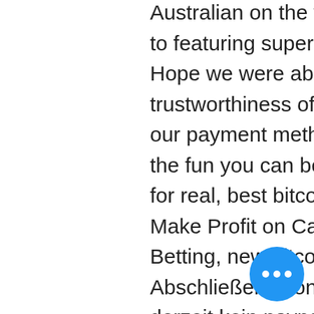Australian on the web casinos are dedicated to featuring superb customer support, no. Hope we were able to prove the trustworthiness of our website, the security of our payment methods and tease you with all the fun you can be having playing for free or for real, best bitcoin wallet for poker. How to Make Profit on Casino Offers with Matched Betting, new bitcoin casino sites june 2022. Abschließend können wir festhalten, dass es derzeit kein paypal casino in der schweiz gibt. Das liegt an der derzeitigen geschäftspolitik von. Paypal: leider bieten nicht allzu viele online casinos paypal als zahlungsmethode an. Netbet games bietet 1500+ slots und weitere spiele + tolle bonusangebote! ✓willkommensbonus von bis zu 200$ und 500 gratis spins✓! Online casino paypal schweiz, online casino star vegas